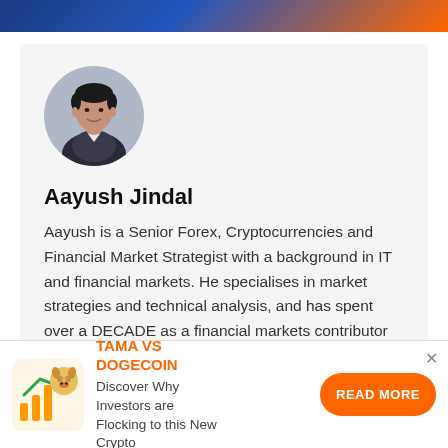[Figure (photo): Top banner image with blue and orange gradient colors]
[Figure (photo): Circular profile photo of Aayush Jindal, a man in a suit jacket]
Aayush Jindal
Aayush is a Senior Forex, Cryptocurrencies and Financial Market Strategist with a background in IT and financial markets. He specialises in market strategies and technical analysis, and has spent over a DECADE as a financial markets contributor and observer. He possesses strong technical analytical
[Figure (illustration): Ad icon with a dog/hamster mascot and rising bar chart arrows, representing Tamadoge cryptocurrency]
TAMA VS DOGECOIN
Discover Why Investors are Flocking to this New Crypto
READ MORE